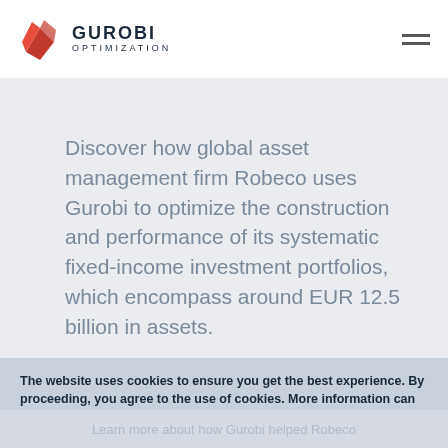GUROBI OPTIMIZATION
Discover how global asset management firm Robeco uses Gurobi to optimize the construction and performance of its systematic fixed-income investment portfolios, which encompass around EUR 12.5 billion in assets.
The website uses cookies to ensure you get the best experience. By proceeding, you agree to the use of cookies. More information can be found in our Privacy Policy
Agree & Close
Learn more about how Gurobi helped Robeco